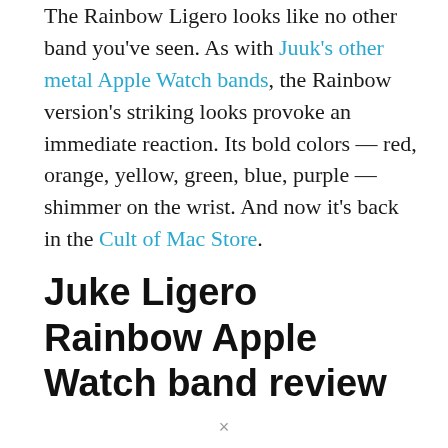The Rainbow Ligero looks like no other band you've seen. As with Juuk's other metal Apple Watch bands, the Rainbow version's striking looks provoke an immediate reaction. Its bold colors — red, orange, yellow, green, blue, purple — shimmer on the wrist. And now it's back in the Cult of Mac Store.
Juke Ligero Rainbow Apple Watch band review